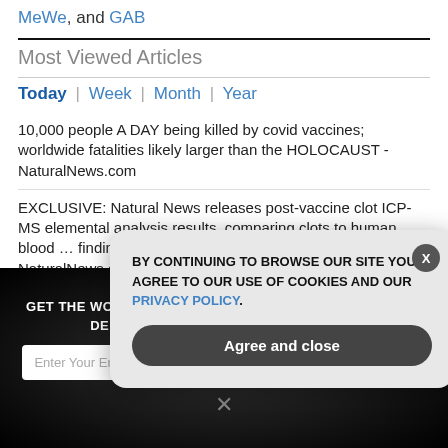MeWe, and GAB
Most Viewed Articles
Today | Week | Month | Year
10,000 people A DAY being killed by covid vaccines; worldwide fatalities likely larger than the HOLOCAUST - NaturalNews.com
EXCLUSIVE: Natural News releases post-vaccine clot ICP-MS elemental analysis results, comparing clots to human blood … findings reveal these clots are NOT “blood” clots - NaturalNews.com
The Globalist WAR on the Elements of Life – watch the bombshell new mini-
GET THE WORLD'S BEST NATURAL HEALTH NEWSLETTER DELIVERED STRAIGHT TO YOUR INBOX
Enter Your Email Address
SUBSCRIBE
BY CONTINUING TO BROWSE OUR SITE YOU AGREE TO OUR USE OF COOKIES AND OUR PRIVACY POLICY.
Agree and close